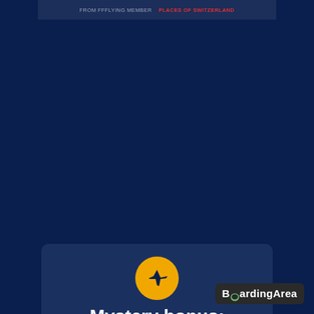[Figure (screenshot): Top banner with faint text reading 'FROM FFFLYING MEMBER' and red text 'PLACES OF SWITZERLAND' on a dark blue background with a landscape photo partially visible]
[Figure (illustration): Dark navy blue background filling most of the page center]
[Figure (logo): Card with dark blue background showing a yellow circle containing a dark airplane silhouette icon, and bold white text reading 'Mystery bonus:']
[Figure (logo): BoardingArea logo badge in dark background at bottom right with green speech bubble dot in letter O]